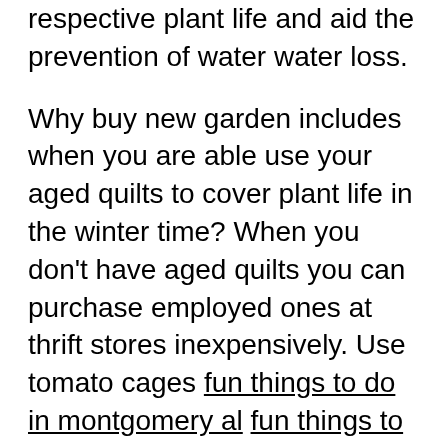respective plant life and aid the prevention of water water loss.
Why buy new garden includes when you are able use your aged quilts to cover plant life in the winter time? When you don't have aged quilts you can purchase employed ones at thrift stores inexpensively. Use tomato cages fun things to do in montgomery al fun things to do in montgomery al to do in austin at night (click the next website) assist the quilts above your plant life. Personal bricks or backyard garden rocks can be used to contain the blankets and down and make sure very good coverage for the plant life.